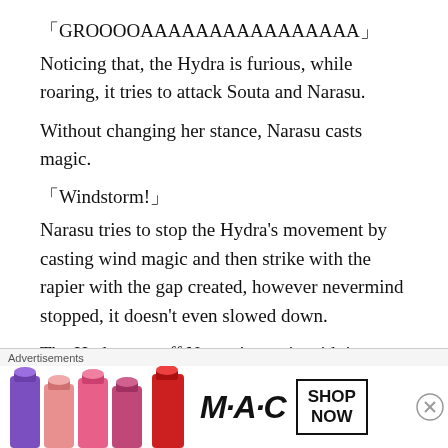「GROOOOAAAAAAAAAAAAAAAA」
Noticing that, the Hydra is furious, while roaring, it tries to attack Souta and Narasu.
Without changing her stance, Narasu casts magic.
「Windstorm!」
Narasu tries to stop the Hydra's movement by casting wind magic and then strike with the rapier with the gap created, however nevermind stopped, it doesn't even slowed down.
The Hydra sets off Narasu's magic with its own magic power and heads toward Narasu as if
[Figure (other): Advertisement banner with MAC lipsticks and SHOP NOW box]